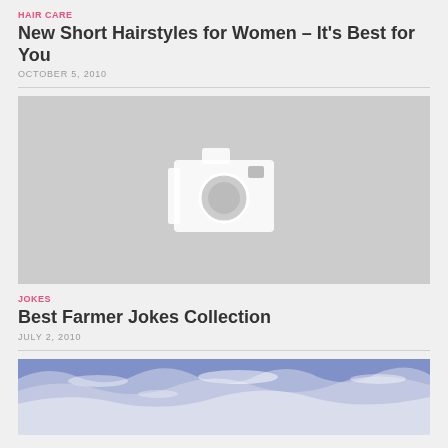HAIR CARE
New Short Hairstyles for Women – It's Best for You
OCTOBER 5, 2010
[Figure (photo): Placeholder image with camera icon on grey background]
JOKES
Best Farmer Jokes Collection
JULY 2, 2010
[Figure (photo): Ocean wave photo with blue and white colors]